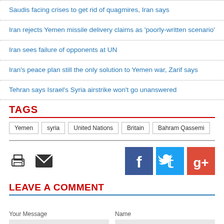Saudis facing crises to get rid of quagmires, Iran says
Iran rejects Yemen missile delivery claims as 'poorly-written scenario'
Iran sees failure of opponents at UN
Iran's peace plan still the only solution to Yemen war, Zarif says
Tehran says Israel's Syria airstrike won't go unanswered
TAGS
Yemen | syria | United Nations | Britain | Bahram Qassemi
[Figure (infographic): Social sharing icons: print, email, Facebook, Twitter, Google+]
LEAVE A COMMENT
Your Message | Name